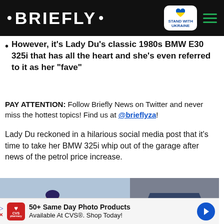• BRIEFLY •
However, it's Lady Du's classic 1980s BMW E30 325i that has all the heart and she's even referred to it as her "fave"
PAY ATTENTION: Follow Briefly News on Twitter and never miss the hottest topics! Find us at @brieflyza!
Lady Du reckoned in a hilarious social media post that it's time to take her BMW 325i whip out of the garage after news of the petrol price increase.
[Figure (photo): Two-panel photo: left panel shows a woman wearing sunglasses and a dark jacket standing near cars outdoors; right panel shows the front of a dark blue BMW E30 325i classic car.]
50+ Same Day Photo Products Available At CVS®. Shop Today!